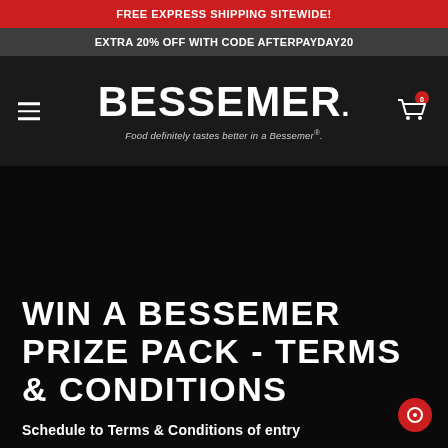FREE EXPRESS SHIPPING SITEWIDE!
EXTRA 20% OFF WITH CODE AFTERPAYDAY20
[Figure (logo): Bessemer brand logo with tagline 'Food definitely tastes better in a Bessemer®.' on dark background with hamburger menu and cart icon]
WIN A BESSEMER PRIZE PACK - TERMS & CONDITIONS
Schedule to Terms & Conditions of entry